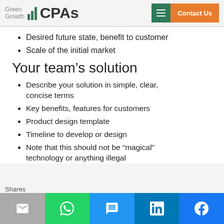Green Growth CPAs | Contact Us
Desired future state, benefit to customer
Scale of the initial market
Your team’s solution
Describe your solution in simple, clear, concise terms
Key benefits, features for customers
Product design template
Timeline to develop or design
Note that this should not be “magical” technology or anything illegal
Shares | The | social share icons